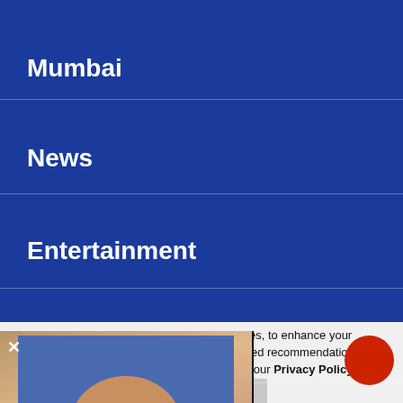Mumbai
News
Entertainment
Sports
Lifestyle
[Figure (photo): Portrait photo of a woman with blonde hair against a blue background, overlaid on the navigation menu]
ilar technologies, to enhance your browsing experience and provide personalised recommendations. By continuing to use our website, you agree to our Privacy Policy and Cookie Policy.
OK